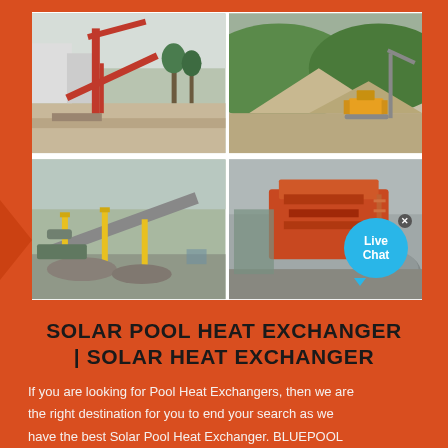[Figure (photo): Four industrial/construction site photos arranged in a 2x2 grid: top-left shows a large red crane/conveyor structure at a mining or quarry site; top-right shows an earthmoving site with piles of gravel and a bulldozer; bottom-left shows a conveyor belt system with yellow supports at a rock crushing facility; bottom-right shows orange industrial crushing/screening machinery.]
SOLAR POOL HEAT EXCHANGER | SOLAR HEAT EXCHANGER
If you are looking for Pool Heat Exchangers, then we are the right destination for you to end your search as we have the best Solar Pool Heat Exchanger. BLUEPOOL ST88S Heat Exchanger - Stainless Steel - 300K BTU